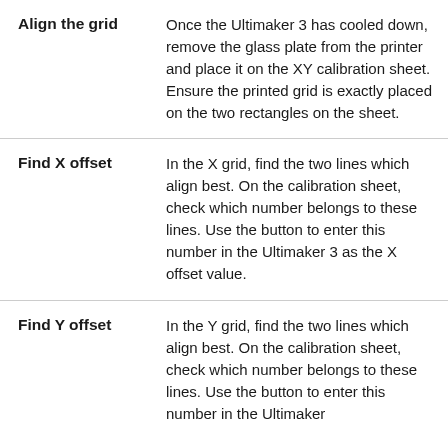| Step | Description |
| --- | --- |
| Align the grid | Once the Ultimaker 3 has cooled down, remove the glass plate from the printer and place it on the XY calibration sheet. Ensure the printed grid is exactly placed on the two rectangles on the sheet. |
| Find X offset | In the X grid, find the two lines which align best. On the calibration sheet, check which number belongs to these lines. Use the button to enter this number in the Ultimaker 3 as the X offset value. |
| Find Y offset | In the Y grid, find the two lines which align best. On the calibration sheet, check which number belongs to these lines. Use the button to enter this number in the Ultimaker |